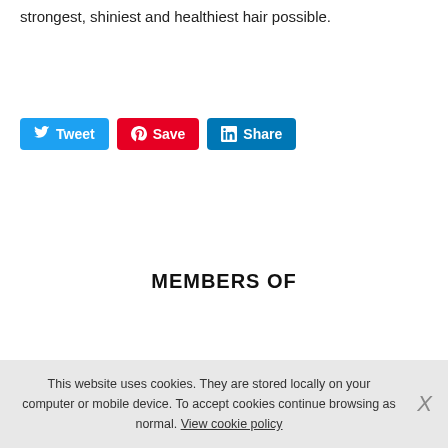strongest, shiniest and healthiest hair possible.
[Figure (other): Social sharing buttons: Tweet (Twitter, blue), Save (Pinterest, red), Share (LinkedIn, blue)]
MEMBERS OF
This website uses cookies. They are stored locally on your computer or mobile device. To accept cookies continue browsing as normal. View cookie policy